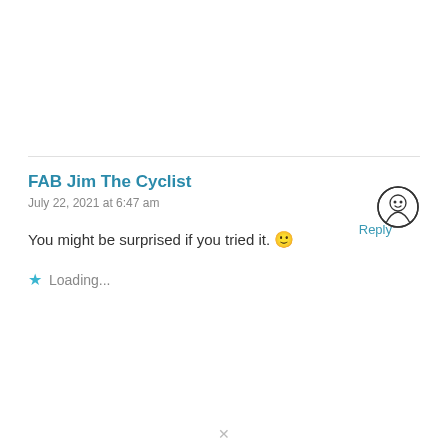Reply
FAB Jim The Cyclist
July 22, 2021 at 6:47 am
[Figure (illustration): User avatar icon — circular badge with stylized face/figure design in black and white]
You might be surprised if you tried it. 🙂
Loading...